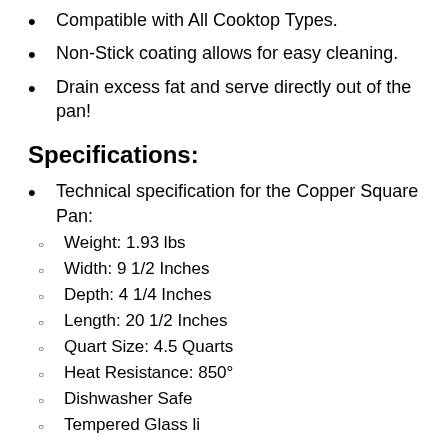Compatible with All Cooktop Types.
Non-Stick coating allows for easy cleaning.
Drain excess fat and serve directly out of the pan!
Specifications:
Technical specification for the Copper Square Pan:
Weight: 1.93 lbs
Width: 9 1/2 Inches
Depth: 4 1/4 Inches
Length: 20 1/2 Inches
Quart Size: 4.5 Quarts
Heat Resistance: 850°
Dishwasher Safe
Tempered Glass Lid